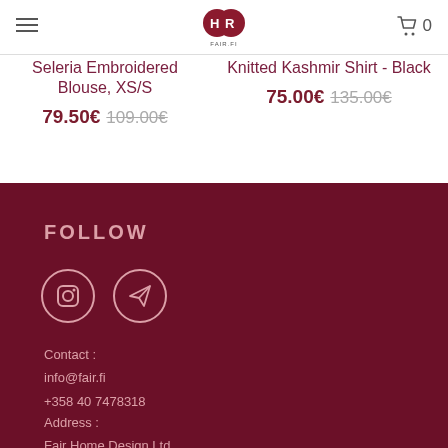FAIR.FI navigation with logo and cart (0 items)
Seleria Embroidered Blouse, XS/S — 79.50€ (was 109.00€)
Knitted Kashmir Shirt - Black — 75.00€ (was 135.00€)
FOLLOW
[Figure (illustration): Two circular social media icons: Instagram and a paper-plane (Telegram/email) icon, white outline on dark red background]
Contact : info@fair.fi +358 40 7478318
Address : Fair Home Design Ltd